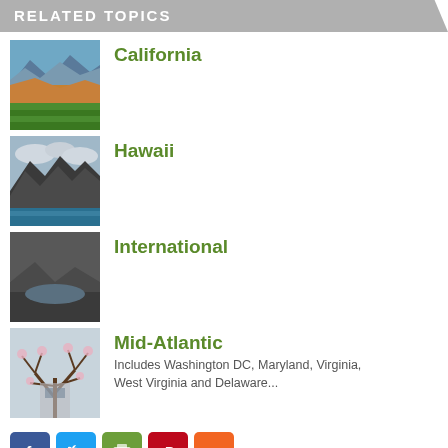RELATED TOPICS
California
Hawaii
International
Mid-Atlantic — Includes Washington DC, Maryland, Virginia, West Virginia and Delaware...
[Figure (other): Social media sharing buttons: Facebook, Twitter, Email, Pinterest, More]